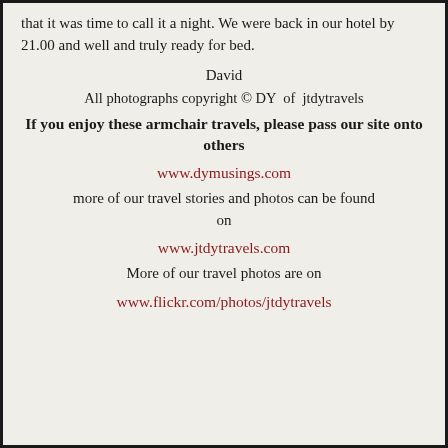that it was time to call it a night. We were back in our hotel by 21.00 and well and truly ready for bed.
David
All photographs copyright © DY of jtdytravels
If you enjoy these armchair travels, please pass our site onto others
www.dymusings.com
more of our travel stories and photos can be found on
www.jtdytravels.com
More of our travel photos are on
www.flickr.com/photos/jtdytravels